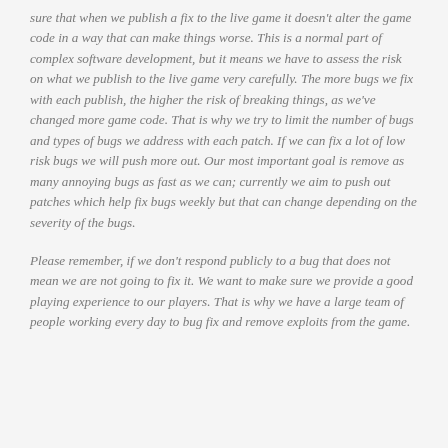sure that when we publish a fix to the live game it doesn't alter the game code in a way that can make things worse. This is a normal part of complex software development, but it means we have to assess the risk on what we publish to the live game very carefully. The more bugs we fix with each publish, the higher the risk of breaking things, as we've changed more game code. That is why we try to limit the number of bugs and types of bugs we address with each patch. If we can fix a lot of low risk bugs we will push more out. Our most important goal is remove as many annoying bugs as fast as we can; currently we aim to push out patches which help fix bugs weekly but that can change depending on the severity of the bugs.
Please remember, if we don't respond publicly to a bug that does not mean we are not going to fix it. We want to make sure we provide a good playing experience to our players. That is why we have a large team of people working every day to bug fix and remove exploits from the game.